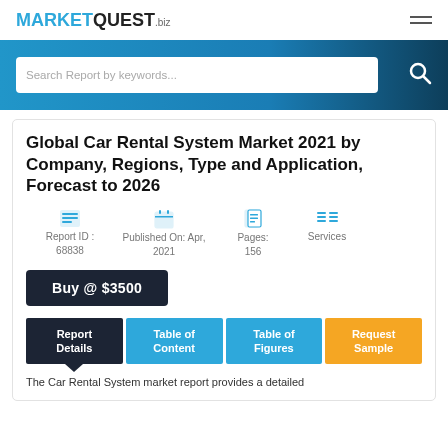MARKETQUEST.biz
[Figure (screenshot): Search bar with placeholder text 'Search Report by keywords...' on a blue banner background]
Global Car Rental System Market 2021 by Company, Regions, Type and Application, Forecast to 2026
Report ID : 68838 | Published On: Apr, 2021 | Pages: 156 | Services
Buy @ $3500
Report Details | Table of Content | Table of Figures | Request Sample
The Car Rental System market report provides a detailed